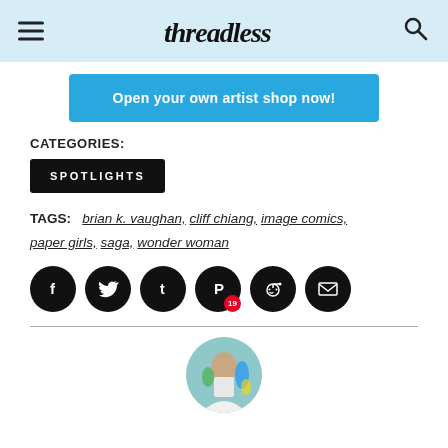Threadless
Open your own artist shop now!
CATEGORIES:
SPOTLIGHTS
TAGS: brian k. vaughan, cliff chiang, image comics, paper girls, saga, wonder woman
[Figure (other): Social sharing icons: Facebook, Twitter, Tumblr, Pinterest (with 19 badge), Reddit, Email]
[Figure (photo): Circular avatar photo of a woman in a white shirt standing in front of colorful wall murals]